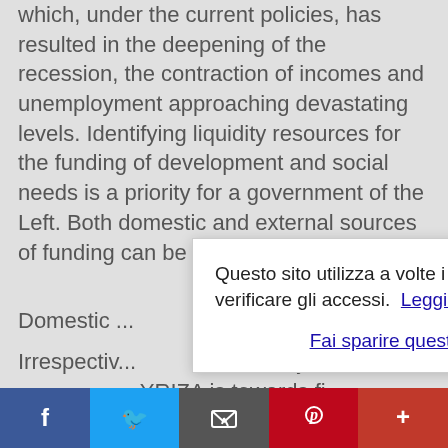which, under the current policies, has resulted in the deepening of the recession, the contraction of incomes and unemployment approaching devastating levels. Identifying liquidity resources for the funding of development and social needs is a priority for a government of the Left. Both domestic and external sources of funding can be ide...
Domestic ...
Irrespectiv... ...rrent juncture, t... SYRIZA is towards fi... ...resources. More specifically:
1. Create the conditions for the restitution of
[Figure (other): Cookie consent dialog overlay in Italian: 'Questo sito utilizza a volte i cookies per verificare gli accessi.' with links 'Leggi ulteriori info' and 'Fai sparire questo messaggio']
[Figure (other): Social sharing bar at the bottom with Facebook, Twitter, Email, Pinterest, and More (+) buttons]